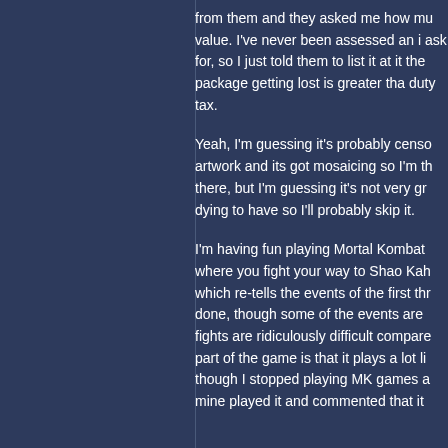from them and they asked me how mu value. I've never been assessed an i ask for, so I just told them to list it at it the package getting lost is greater tha duty tax.
Yeah, I'm guessing it's probably censo artwork and its got mosaicing so I'm th there, but I'm guessing it's not very gr dying to have so I'll probably skip it.
I'm having fun playing Mortal Kombat where you fight your way to Shao Kah which re-tells the events of the first thr done, though some of the events are fights are ridiculously difficult compare part of the game is that it plays a lot li though I stopped playing MK games a mine played it and commented that it